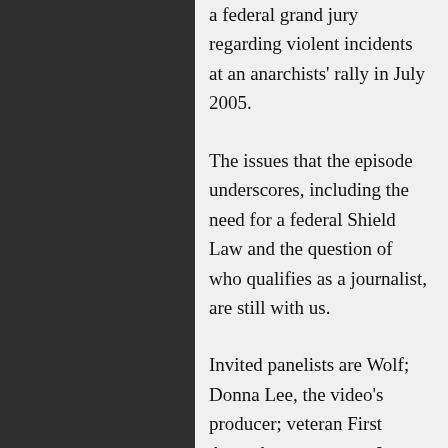a federal grand jury regarding violent incidents at an anarchists' rally in July 2005.
The issues that the episode underscores, including the need for a federal Shield Law and the question of who qualifies as a journalist, are still with us.
Invited panelists are Wolf; Donna Lee, the video's producer; veteran First Amendment attorney James Wheaton; and political cartoonist Susie Cagle, who was arrested twice at Occupy